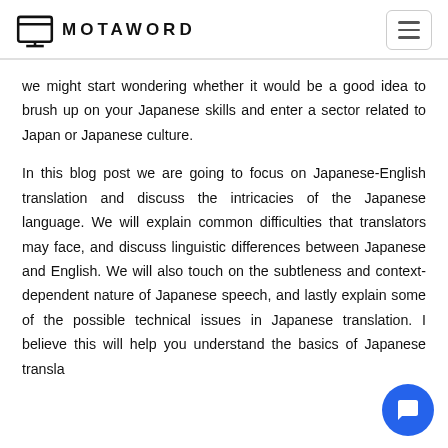MOTAWORD
we might start wondering whether it would be a good idea to brush up on your Japanese skills and enter a sector related to Japan or Japanese culture.
In this blog post we are going to focus on Japanese-English translation and discuss the intricacies of the Japanese language. We will explain common difficulties that translators may face, and discuss linguistic differences between Japanese and English. We will also touch on the subtleness and context-dependent nature of Japanese speech, and lastly explain some of the possible technical issues in Japanese translation. I believe this will help you understand the basics of Japanese translation